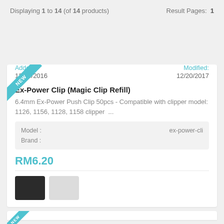Displaying 1 to 14 (of 14 products)   Result Pages: 1
Added: 12/13/2016   Modified: 12/20/2017
Ex-Power Clip (Magic Clip Refill)
6.4mm Ex-Power Push Clip 50pcs - Compatible with clipper model: 1126, 1156, 1128, 1158 clipper  ...
| Model : | ex-power-cli |
| --- | --- |
| Brand : |  |
RM6.20
[Figure (other): Two color swatches: dark/black and light/gray]